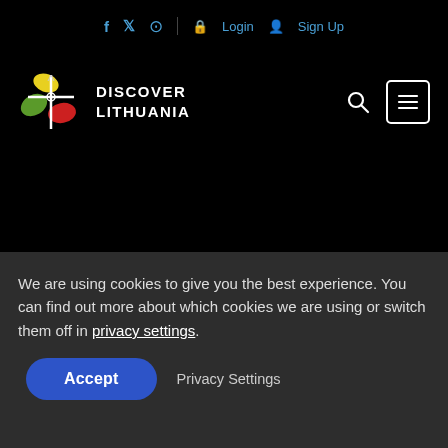f  𝕏  ⊙   Login   Sign Up
[Figure (logo): Discover Lithuania logo with colorful floral/cross emblem and text DISCOVER LITHUANIA]
We are using cookies to give you the best experience. You can find out more about which cookies we are using or switch them off in privacy settings.
Accept   Privacy Settings